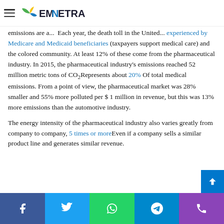EMNETRA
emissions are a... Each year, the death toll in the United... experienced by Medicare and Medicaid beneficiaries (taxpayers support medical care) and the colored community. At least 12% of these come from the pharmaceutical industry. In 2015, the pharmaceutical industry's emissions reached 52 million metric tons of CO₂Represents about 20% Of total medical emissions. From a point of view, the pharmaceutical market was 28% smaller and 55% more polluted per $ 1 million in revenue, but this was 13% more emissions than the automotive industry.
The energy intensity of the pharmaceutical industry also varies greatly from company to company, 5 times or moreEven if a company sells a similar product line and generates similar revenue.